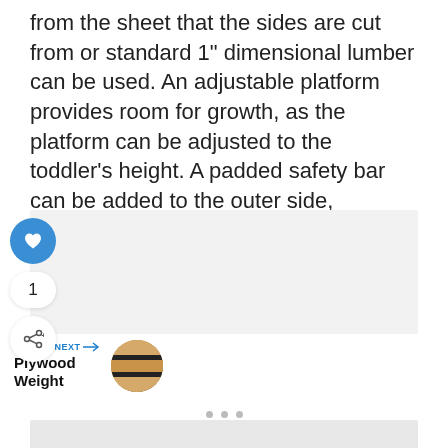from the sheet that the sides are cut from or standard 1" dimensional lumber can be used. An adjustable platform provides room for growth, as the platform can be adjusted to the toddler's height. A padded safety bar can be added to the outer side, providing something to catch the child if they lose their balance.
[Figure (photo): A light gray placeholder image box with social interaction buttons: a blue heart/like button, a count of 1, and a share button on the left side.]
[Figure (photo): What's Next navigation bar showing 'WHAT'S NEXT →' label in blue, 'Plywood Weight' title in bold, and a circular thumbnail image of plywood cross-section.]